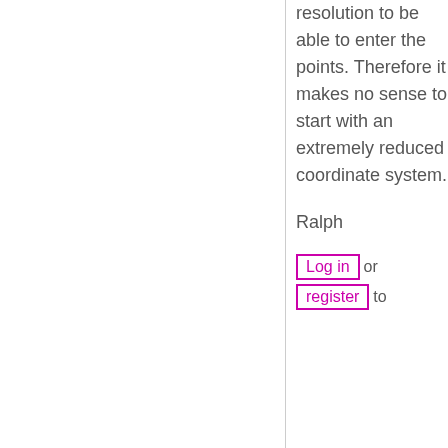resolution to be able to enter the points. Therefore it makes no sense to start with an extremely reduced coordinate system.
Ralph
Log in or register to